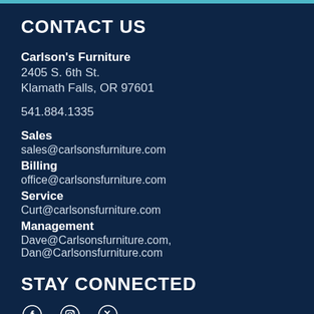CONTACT US
Carlson's Furniture
2405 S. 6th St.
Klamath Falls, OR 97601
541.884.1335
Sales
sales@carlsonsfurniture.com
Billing
office@carlsonsfurniture.com
Service
Curt@carlsonsfurniture.com
Management
Dave@Carlsonsfurniture.com, Dan@Carlsonsfurniture.com
STAY CONNECTED
[Figure (other): Social media icons: Facebook, Instagram, Twitter]
CUSTOMER SERVICE